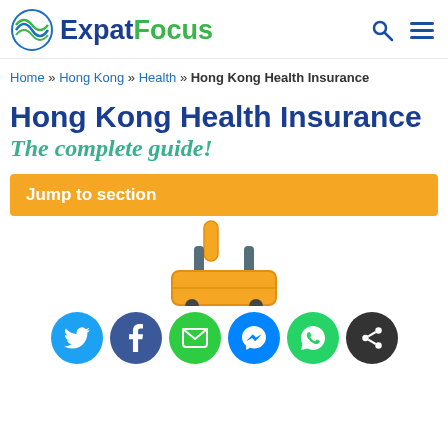ExpatFocus
Home » Hong Kong » Health » Hong Kong Health Insurance
Hong Kong Health Insurance
The complete guide!
Jump to section
[Figure (illustration): Illustration of a yellow and grey luggage/suitcase on wheels, partially visible at the bottom of the page]
[Figure (infographic): Row of social sharing buttons: Twitter (blue), Facebook (dark blue), Email (green), Messenger (blue), WhatsApp (green), Share (dark grey)]